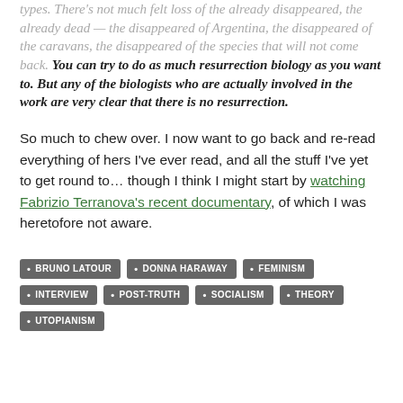types. There's not much felt loss of the already disappeared, the already dead — the disappeared of Argentina, the disappeared of the caravans, the disappeared of the species that will not come back. You can try to do as much resurrection biology as you want to. But any of the biologists who are actually involved in the work are very clear that there is no resurrection.
So much to chew over. I now want to go back and re-read everything of hers I've ever read, and all the stuff I've yet to get round to… though I think I might start by watching Fabrizio Terranova's recent documentary, of which I was heretofore not aware.
BRUNO LATOUR
DONNA HARAWAY
FEMINISM
INTERVIEW
POST-TRUTH
SOCIALISM
THEORY
UTOPIANISM